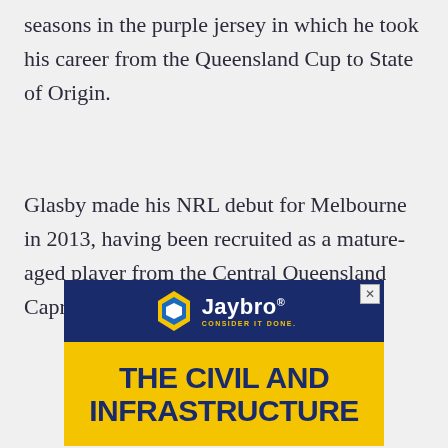seasons in the purple jersey in which he took his career from the Queensland Cup to State of Origin.
Glasby made his NRL debut for Melbourne in 2013, having been recruited as a mature-aged player from the Central Queensland Capras in the state competition.
[Figure (other): Jaybro advertisement banner. Top section: dark navy blue background with Jaybro logo (white text 'Jaybro' with yellow geometric diamond/hexagon shape) and tagline 'CONSIDER IT DONE.' in yellow. Bottom section: yellow background with bold navy text 'THE CIVIL AND INFRASTRUCTURE'.]